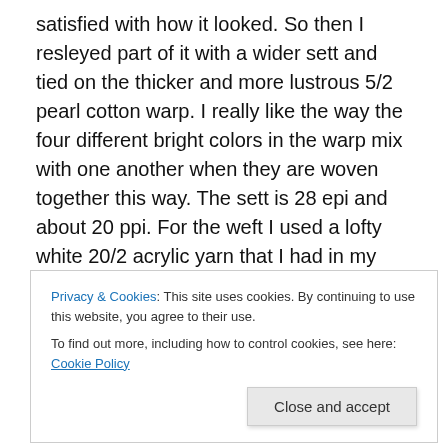satisfied with how it looked.  So then I resleyed part of it with a wider sett and tied on the thicker and more lustrous 5/2 pearl cotton warp.  I really like the way the four different bright colors in the warp mix with one another when they are woven together this way.  The sett is 28 epi and about 20 ppi.  For the weft I used a lofty white 20/2 acrylic yarn that I had in my stash.  Wet finishing is the same as for the 8-shaft turned taqueté variation.  I really like the little pillow I made from this yardage!
I'm not done yet with exploring turned taqueté.  What's
Privacy & Cookies: This site uses cookies. By continuing to use this website, you agree to their use.
To find out more, including how to control cookies, see here: Cookie Policy
Close and accept
drafts on handweaving.net at this link.